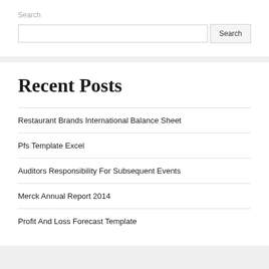Search
Search
Recent Posts
Restaurant Brands International Balance Sheet
Pfs Template Excel
Auditors Responsibility For Subsequent Events
Merck Annual Report 2014
Profit And Loss Forecast Template